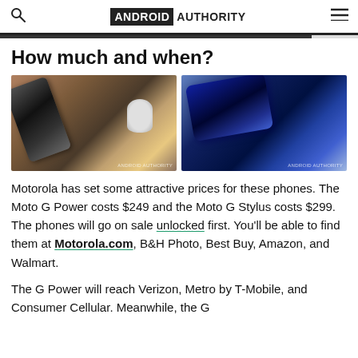ANDROID AUTHORITY
How much and when?
[Figure (photo): Two photos side by side: left shows a Motorola phone lying flat on a wooden surface next to a can; right shows a dark blue Motorola phone resting on a wooden surface at an angle.]
Motorola has set some attractive prices for these phones. The Moto G Power costs $249 and the Moto G Stylus costs $299. The phones will go on sale unlocked first. You'll be able to find them at Motorola.com, B&H Photo, Best Buy, Amazon, and Walmart.
The G Power will reach Verizon, Metro by T-Mobile, and Consumer Cellular. Meanwhile, the G